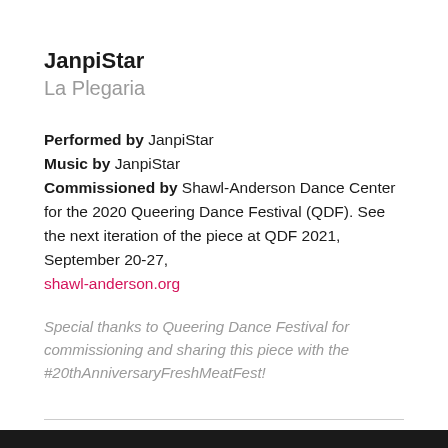JanpiStar
La Plegaria
Performed by JanpiStar
Music by JanpiStar
Commissioned by Shawl-Anderson Dance Center for the 2020 Queering Dance Festival (QDF). See the next iteration of the piece at QDF 2021, September 20-27, shawl-anderson.org
Special thanks to Queering Dance Festival for commissioning and sharing this piece with the #20thAnniversaryFreshMeatFest!